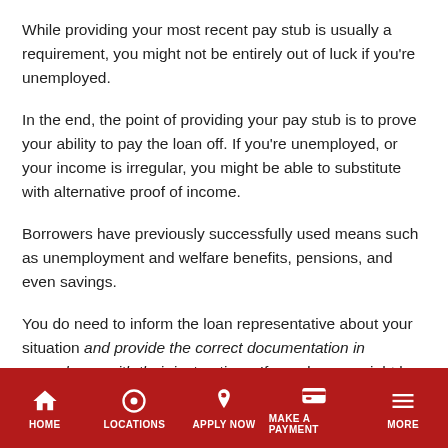While providing your most recent pay stub is usually a requirement, you might not be entirely out of luck if you're unemployed.
In the end, the point of providing your pay stub is to prove your ability to pay the loan off. If you're unemployed, or your income is irregular, you might be able to substitute with alternative proof of income.
Borrowers have previously successfully used means such as unemployment and welfare benefits, pensions, and even savings.
You do need to inform the loan representative about your situation and provide the correct documentation in accordance with their instructions. If you do, you might be able to qualify
HOME  LOCATIONS  APPLY NOW  MAKE A PAYMENT  MORE